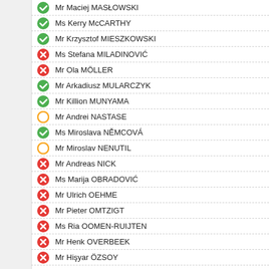Mr Maciej MASŁOWSKI
Ms Kerry McCARTHY
Mr Krzysztof MIESZKOWSKI
Ms Stefana MILADINOVIĆ
Mr Ola MÖLLER
Mr Arkadiusz MULARCZYK
Mr Killion MUNYAMA
Mr Andrei NASTASE
Ms Miroslava NĚMCOVÁ
Mr Miroslav NENUTIL
Mr Andreas NICK
Ms Marija OBRADOVIĆ
Mr Ulrich OEHME
Mr Pieter OMTZIGT
Ms Ria OOMEN-RUIJTEN
Mr Henk OVERBEEK
Mr Hişyar ÖZSOY